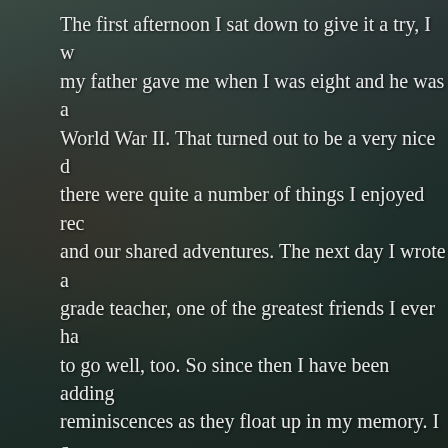The first afternoon I sat down to give it a try, I w... my father gave me when I was eight and he was a... World War II. That turned out to be a very nice d... there were quite a number of things I enjoyed rec... and our shared adventures. The next day I wrote a... grade teacher, one of the greatest friends I ever ha... to go well, too. So since then I have been adding... reminiscences as they float up in my memory. I c... to everyone. It is especially gratifying to rememb... whom we have owed so much over the years—d... also family members, teachers, friends, and write... and artists and film makers and on and on.
Q: Anything else we should know?